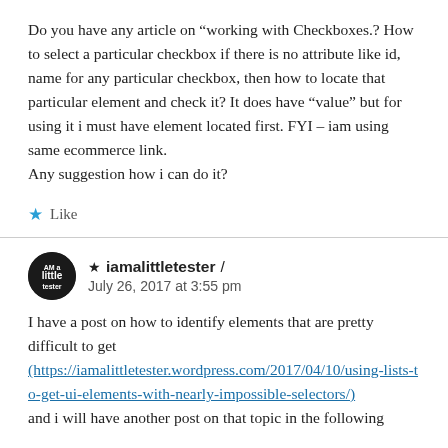Do you have any article on “working with Checkboxes.? How to select a particular checkbox if there is no attribute like id, name for any particular checkbox, then how to locate that particular element and check it? It does have “value” but for using it i must have element located first. FYI – iam using same ecommerce link.
Any suggestion how i can do it?
★ Like
iamalittletester / July 26, 2017 at 3:55 pm
I have a post on how to identify elements that are pretty difficult to get (https://iamalittletester.wordpress.com/2017/04/10/using-lists-to-get-ui-elements-with-nearly-impossible-selectors/) and i will have another post on that topic in the following